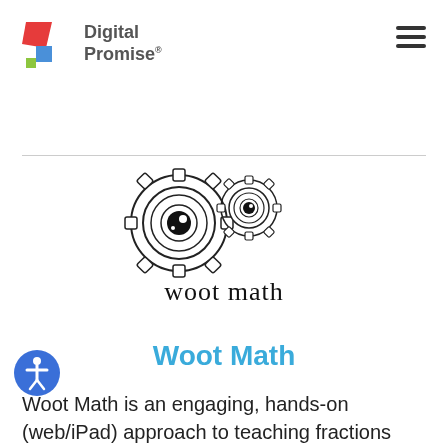[Figure (logo): Digital Promise logo with red, blue, and green geometric shapes and text 'Digital Promise']
[Figure (logo): Woot Math logo — two cartoon gear characters with eyes above the text 'woot math' in handwritten style font]
Woot Math
Woot Math is an engaging, hands-on (web/iPad) approach to teaching fractions and related concepts for grades 3-7.